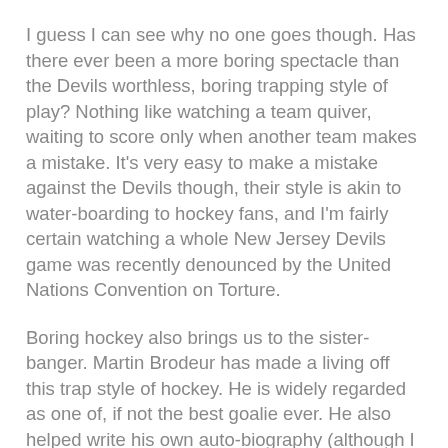I guess I can see why no one goes though. Has there ever been a more boring spectacle than the Devils worthless, boring trapping style of play? Nothing like watching a team quiver, waiting to score only when another team makes a mistake. It's very easy to make a mistake against the Devils though, their style is akin to water-boarding to hockey fans, and I'm fairly certain watching a whole New Jersey Devils game was recently denounced by the United Nations Convention on Torture.
Boring hockey also brings us to the sister-banger. Martin Brodeur has made a living off this trap style of hockey. He is widely regarded as one of, if not the best goalie ever. He also helped write his own auto-biography (although I think you should write it your damn self) in which he praises himself, as a hero, talks about how great of a guy he is, and that the Devils will owe him for eternity.
In fact Brodeur loves to whine about the so called "Brodeur Rule", aka the trapezoid, but it was his whining, and his lack of cool that led to the NHL making up a rule in the middle of